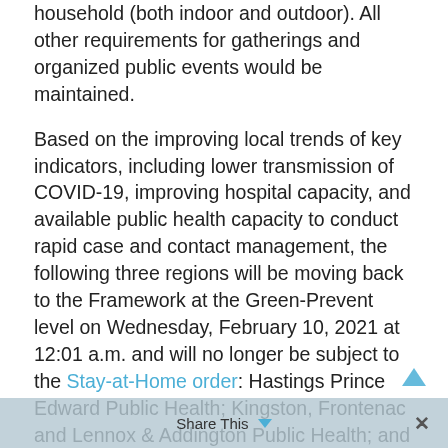household (both indoor and outdoor). All other requirements for gatherings and organized public events would be maintained.
Based on the improving local trends of key indicators, including lower transmission of COVID-19, improving hospital capacity, and available public health capacity to conduct rapid case and contact management, the following three regions will be moving back to the Framework at the Green-Prevent level on Wednesday, February 10, 2021 at 12:01 a.m. and will no longer be subject to the Stay-at-Home order: Hastings Prince Edward Public Health; Kingston, Frontenac and Lennox & Addington Public Health; and Renfrew County and District Health Unit.
Due to the fact that public health trends are improving in some regions faster than others, the